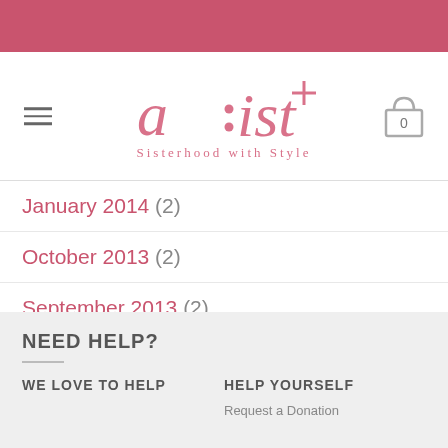[Figure (logo): a:list Sisterhood with Style logo in salmon/pink color with shopping cart icon and hamburger menu]
January 2014 (2)
October 2013 (2)
September 2013 (2)
Ivermec 12 in hindi (3)
NEED HELP?
WE LOVE TO HELP
HELP YOURSELF
Request a Donation